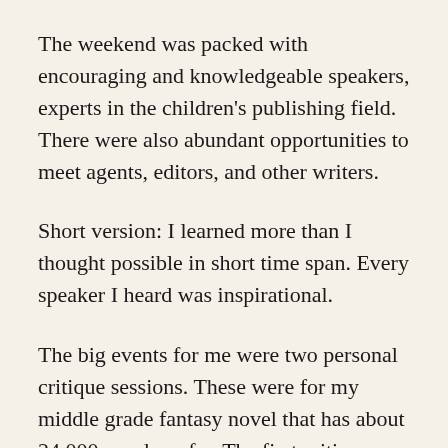The weekend was packed with encouraging and knowledgeable speakers, experts in the children's publishing field. There were also abundant opportunities to meet agents, editors, and other writers.
Short version: I learned more than I thought possible in short time span. Every speaker I heard was inspirational.
The big events for me were two personal critique sessions. These were for my middle grade fantasy novel that has about 24,000 words so far. The first critique was a 15-minute one-on-one consultation with a traditionally published middle grade author (she has two books out). The second was a first pages reading with two editors and nine other writer/readers.